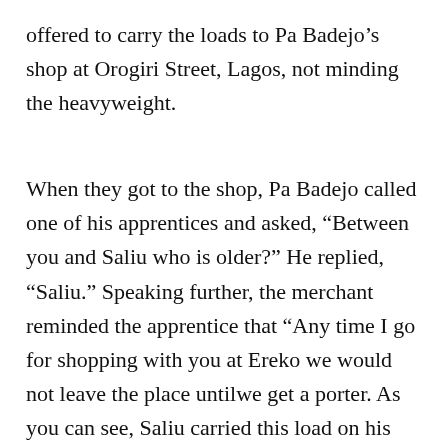offered to carry the loads to Pa Badejo's shop at Orogiri Street, Lagos, not minding the heavyweight.
When they got to the shop, Pa Badejo called one of his apprentices and asked, “Between you and Saliu who is older?” He replied, “Saliu.” Speaking further, the merchant reminded the apprentice that “Any time I go for shopping with you at Ereko we would not leave the place untilwe get a porter. As you can see, Saliu carried this load on his head to this place.”